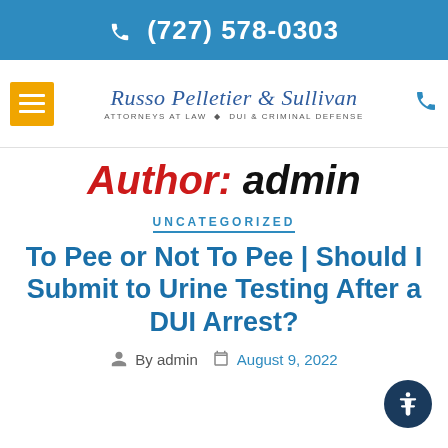(727) 578-0303
[Figure (logo): Russo Pelletier & Sullivan - Attorneys at Law - DUI & Criminal Defense logo with hamburger menu and phone icon]
Author: admin
UNCATEGORIZED
To Pee or Not To Pee | Should I Submit to Urine Testing After a DUI Arrest?
By admin   August 9, 2022